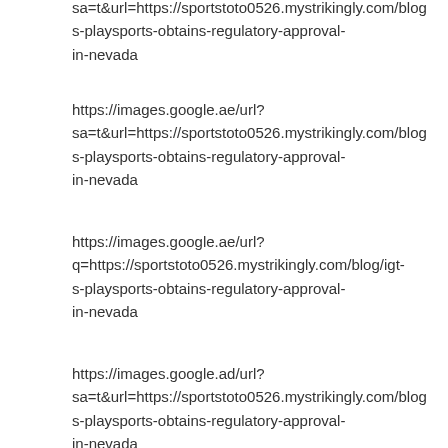sa=t&url=https://sportstoto0526.mystrikingly.com/blog/s-playsports-obtains-regulatory-approval-in-nevada
https://images.google.ae/url?sa=t&url=https://sportstoto0526.mystrikingly.com/blog/s-playsports-obtains-regulatory-approval-in-nevada
https://images.google.ae/url?q=https://sportstoto0526.mystrikingly.com/blog/igt-s-playsports-obtains-regulatory-approval-in-nevada
https://images.google.ad/url?sa=t&url=https://sportstoto0526.mystrikingly.com/blog/s-playsports-obtains-regulatory-approval-in-nevada